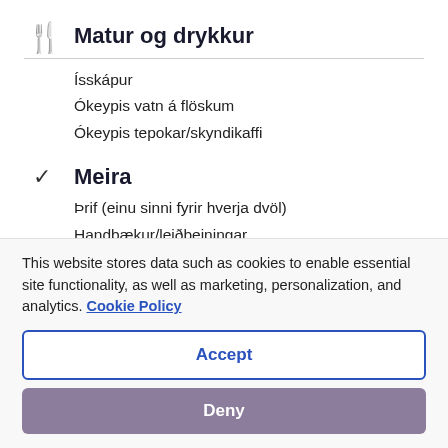Matur og drykkur
Ísskápur
Ókeypis vatn á flöskum
Ókeypis tepokar/skyndikaffi
Meira
Þrif (einu sinni fyrir hverja dvöl)
Handbækur/leiðbeiningar
Kort af svæðinu
This website stores data such as cookies to enable essential site functionality, as well as marketing, personalization, and analytics. Cookie Policy
Accept
Deny